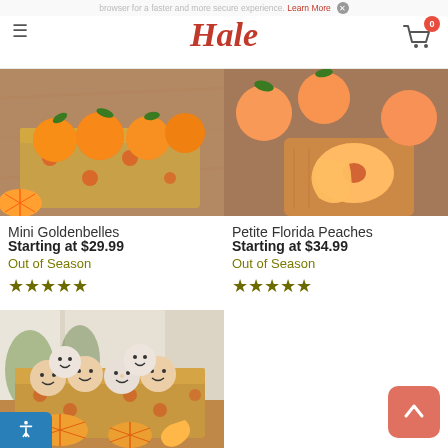Hale
browser for a faster and more secure experience. Learn More X
[Figure (photo): Mini Goldenbelles oranges in a decorative cardboard box with orange slices on a wooden surface]
Mini Goldenbelles
Starting at $29.99
Out of Season
★★★★★
[Figure (photo): Petite Florida Peaches with sliced peach on a cutting board]
Petite Florida Peaches
Starting at $34.99
Out of Season
★★★★★
[Figure (photo): Happy Goldenbelles oranges with smiley faces wrapped in paper, arranged in a decorative box with orange slices]
...py Goldenbelles